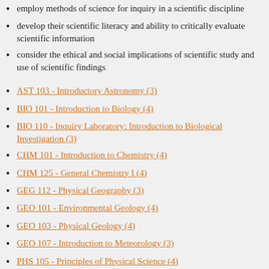employ methods of science for inquiry in a scientific discipline
develop their scientific literacy and ability to critically evaluate scientific information
consider the ethical and social implications of scientific study and use of scientific findings
AST 103 - Introductory Astronomy (3)
BIO 101 - Introduction to Biology (4)
BIO 110 - Inquiry Laboratory: Introduction to Biological Investigation (3)
CHM 101 - Introduction to Chemistry (4)
CHM 125 - General Chemistry I (4)
GEG 112 - Physical Geography (3)
GEO 101 - Environmental Geology (4)
GEO 103 - Physical Geology (4)
GEO 107 - Introduction to Meteorology (3)
PHS 105 - Principles of Physical Science (4)